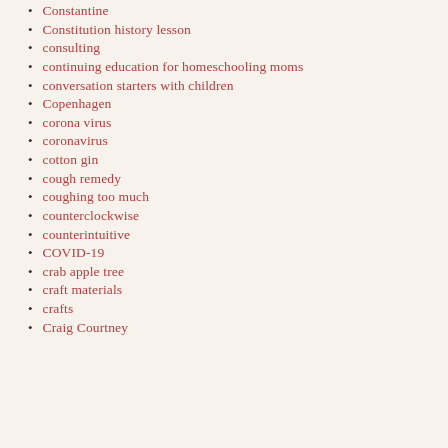Constantine
Constitution history lesson
consulting
continuing education for homeschooling moms
conversation starters with children
Copenhagen
corona virus
coronavirus
cotton gin
cough remedy
coughing too much
counterclockwise
counterintuitive
COVID-19
crab apple tree
craft materials
crafts
Craig Courtney